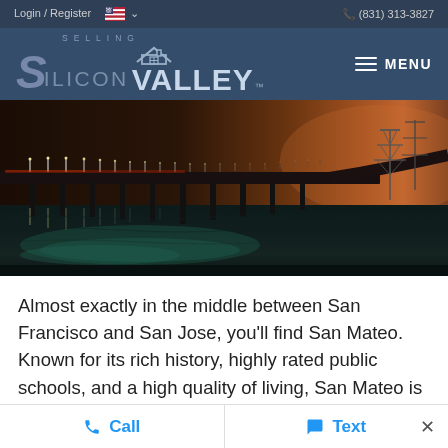Login / Register   (831) 313-3827
[Figure (logo): Selling Silicon Valley logo with house icon on dark navy background, with MENU hamburger button on right]
[Figure (photo): Nighttime photo of a long bridge over water, lit by streetlights, with an orange-amber sky and reflections on the water below]
Almost exactly in the middle between San Francisco and San Jose, you’ll find San Mateo. Known for its rich history, highly rated public schools, and a high quality of living, San Mateo is popular with many young
Call   Text